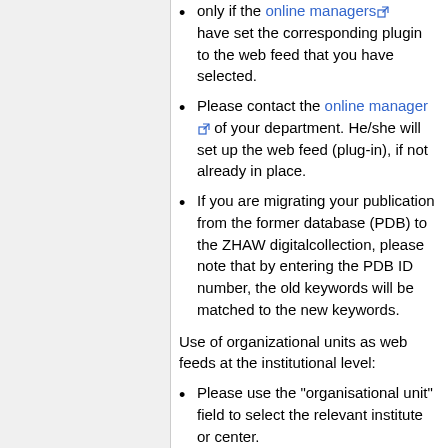only if the online managers have set the corresponding plugin to the web feed that you have selected.
Please contact the online manager of your department. He/she will set up the web feed (plug-in), if not already in place.
If you are migrating your publication from the former database (PDB) to the ZHAW digitalcollection, please note that by entering the PDB ID number, the old keywords will be matched to the new keywords.
Use of organizational units as web feeds at the institutional level:
Please use the "organisational unit" field to select the relevant institute or center.
Please contact the online manager of your department. He/she will set